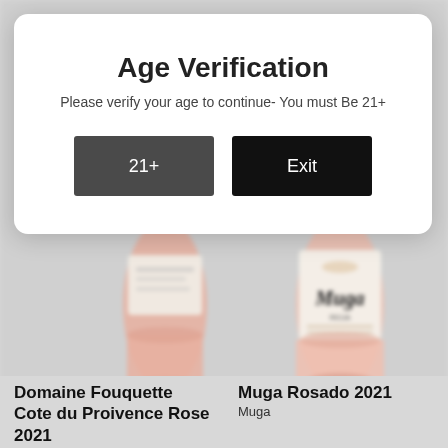[Figure (screenshot): Age verification modal dialog overlaid on a wine shop product page showing two rosé wine bottles: Domaine Fouquette Cote du Proivence Rose 2021 (left) and Muga Rosado 2021 by Muga (right). The modal has a white rounded rectangle with title 'Age Verification', subtitle text, and two buttons labeled '21+' and 'Exit'.]
Age Verification
Please verify your age to continue- You must Be 21+
21+
Exit
Domaine Fouquette Cote du Proivence Rose 2021
Muga Rosado 2021
Muga